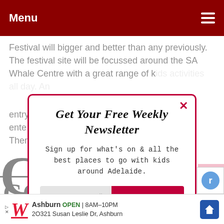Menu
Festival will bigger and better than any previously. The festival site will be focussed around the SA Whale Centre with a great range of kids activities all day.  An entry ... ente... Ther...
[Figure (screenshot): Newsletter signup modal popup with red border. Title: 'Get Your Free Weekly Newsletter'. Subtitle: 'Sign up for what's on & all the best places to go with kids around Adelaide.' Email input field with 'Enter your Email' placeholder, red 'SUBSCRIBE NOW' button, and 'NO THANKS' link.]
May 4, 2015
[ May 17, 2015 to May 24, 2
CO
CORNISH
Kadina • Moor
Ashburn OPEN 8AM–10PM 2O321 Susan Leslie Dr, Ashburn